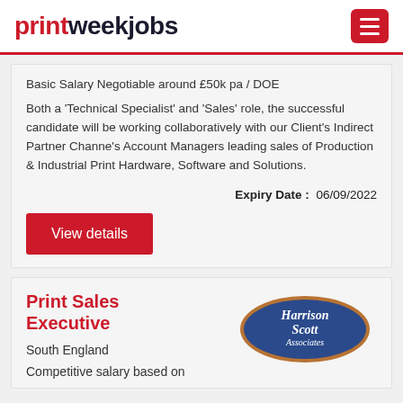printweekjobs
Basic Salary Negotiable around £50k pa / DOE
Both a 'Technical Specialist' and 'Sales' role, the successful candidate will be working collaboratively with our Client's Indirect Partner Channe's Account Managers leading sales of Production & Industrial Print Hardware, Software and Solutions.
Expiry Date : 06/09/2022
View details
Print Sales Executive
South England
Competitive salary based on
[Figure (logo): Harrison Scott Associates oval logo — dark blue oval with gold/copper border, white text reading Harrison Scott Associates]